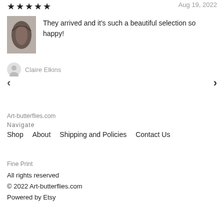★★★★★
Aug 19, 2022
[Figure (photo): Small photo thumbnail of a butterfly or insect specimen on a white background]
They arrived and it's such a beautiful selection so happy!
Claire Elkins
‹
›
Art-butterflies.com
Navigate
Shop
About
Shipping and Policies
Contact Us
Fine Print
All rights reserved
© 2022 Art-butterflies.com
Powered by Etsy